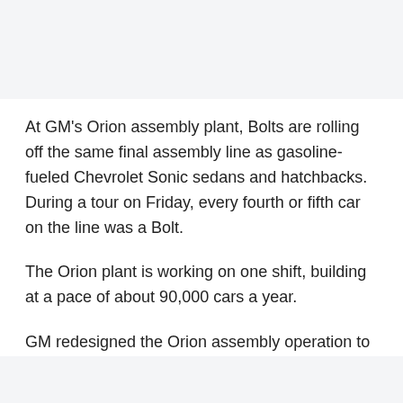At GM's Orion assembly plant, Bolts are rolling off the same final assembly line as gasoline-fueled Chevrolet Sonic sedans and hatchbacks. During a tour on Friday, every fourth or fifth car on the line was a Bolt.
The Orion plant is working on one shift, building at a pace of about 90,000 cars a year.
GM redesigned the Orion assembly operation to allow workers to build either Bolts or Sonics and can shift production depending on demand, said Yves Dontigny, launch manager for the Bolt.